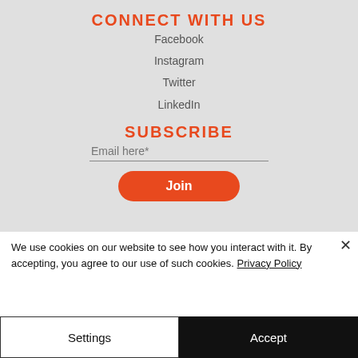CONNECT WITH US
Facebook
Instagram
Twitter
LinkedIn
SUBSCRIBE
Email here*
Join
We use cookies on our website to see how you interact with it. By accepting, you agree to our use of such cookies. Privacy Policy
Settings
Accept